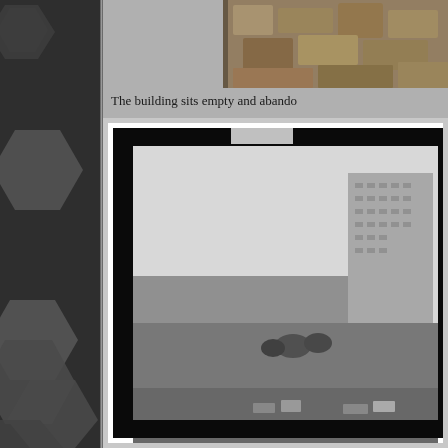[Figure (photo): Left dark sidebar with hexagonal pattern decorations]
[Figure (photo): Top partial color photograph showing a rough stone or rubble surface]
The building sits empty and abando...
[Figure (photo): Black and white archival photograph with HABS No. GA-2374-7 label on the film border, showing a multi-story building (tall office tower) and surrounding lower structures in an urban setting]